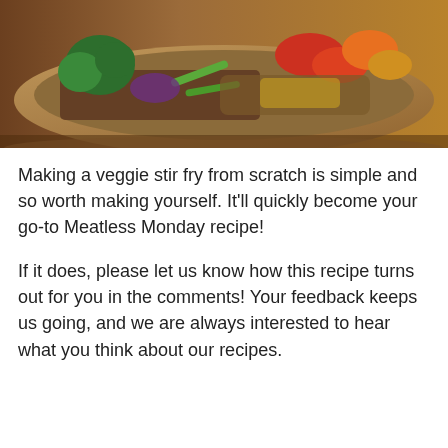[Figure (photo): A plate of veggie stir fry with broccoli, colorful bell peppers, rice and mixed vegetables on a wooden surface, photographed in warm light.]
Making a veggie stir fry from scratch is simple and so worth making yourself. It'll quickly become your go-to Meatless Monday recipe!
If it does, please let us know how this recipe turns out for you in the comments! Your feedback keeps us going, and we are always interested to hear what you think about our recipes.